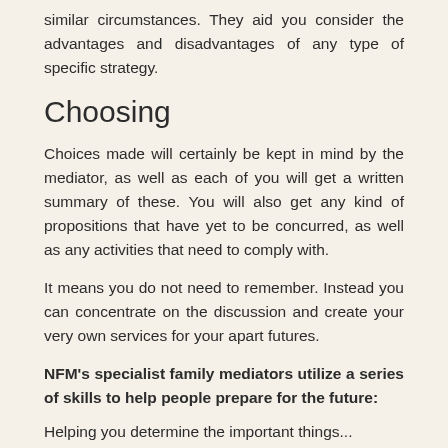similar circumstances. They aid you consider the advantages and disadvantages of any type of specific strategy.
Choosing
Choices made will certainly be kept in mind by the mediator, as well as each of you will get a written summary of these. You will also get any kind of propositions that have yet to be concurred, as well as any activities that need to comply with.
It means you do not need to remember. Instead you can concentrate on the discussion and create your very own services for your apart futures.
NFM's specialist family mediators utilize a series of skills to help people prepare for the future:
Helping you determine the important things...